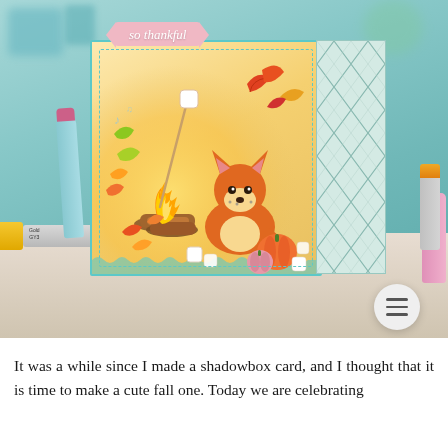[Figure (photo): A handmade autumn-themed shadowbox card featuring a cute fox roasting a marshmallow over a campfire, surrounded by fall leaves and pumpkins. The card has a mint/teal border with a pink banner reading 'so thankful' in cursive. Copic markers (Gold GY3) and other markers are visible on a white table surface around the card.]
It was a while since I made a shadowbox card, and I thought that it is time to make a cute fall one. Today we are celebrating